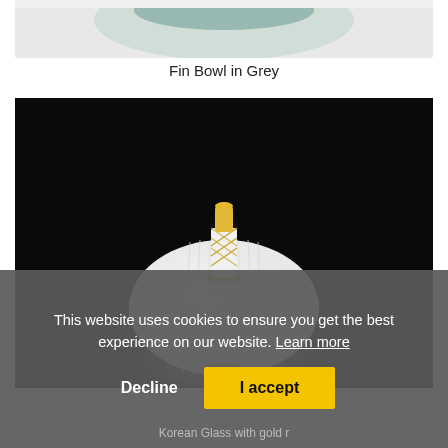[Figure (photo): Partial top view of a decorative bowl (Fin Bowl in Grey) with grey/teal coloring on white background, cropped at top]
Fin Bowl in Grey
[Figure (photo): A white frosted glass vase/vessel with gold trim and decorative gold lattice pattern on the neck, on a black background. The piece has a round flattened body and a narrow neck with gold cap. Reflection visible below.]
This website uses cookies to ensure you get the best experience on our website. Learn more
Decline
I accept
Korean Glass with gold r